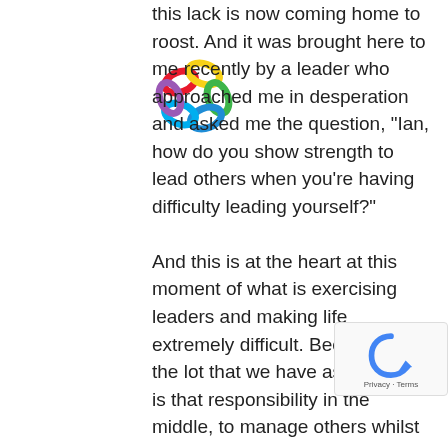this lack is now coming home to roost. And it was brought here to me recently by a leader who approached me in desperation and asked me the question, "Ian, how do you show strength to lead others when you're having difficulty leading yourself?"

And this is at the heart at this moment of what is exercising leaders and making life extremely difficult. Because it's the lot that we have as a leader, is that responsibility in the middle, to manage others whilst we're trying to manage ourselves. Leaders are defacto the frontline, white collar workers of the peace today. At a time when, if I refer back to what I mentioned last week, the CEO forum that we hosted where 9 out of 10 CEOs, when asked the question, what their biggest struggle was at this moment in time and the thing that was keeping them awake at night, it
[Figure (logo): Colorful interlocking loops logo]